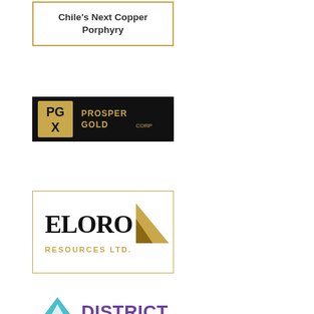[Figure (logo): Chile's Next Copper Porphyry text in a golden-bordered box]
[Figure (logo): Prosper Gold Corp logo - PGX letters on black background with gold text]
[Figure (logo): Eloro Resources Ltd. logo with gold mountain/triangle graphic]
[Figure (logo): District Metals Corp. logo with teal and purple diamond icon]
[Figure (logo): Pacific Ridge Exploration Ltd. logo with blue mountain graphic]
[Figure (logo): Mantaro Silver logo with ancient coin/face icon]